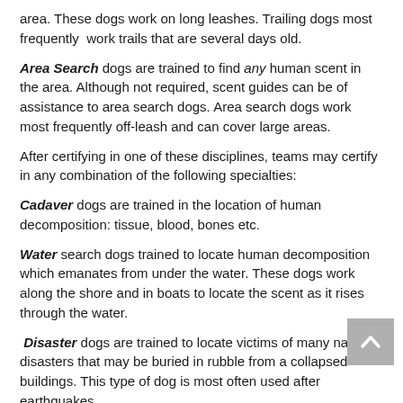area. These dogs work on long leashes. Trailing dogs most frequently work trails that are several days old.
Area Search dogs are trained to find any human scent in the area. Although not required, scent guides can be of assistance to area search dogs. Area search dogs work most frequently off-leash and can cover large areas.
After certifying in one of these disciplines, teams may certify in any combination of the following specialties:
Cadaver dogs are trained in the location of human decomposition: tissue, blood, bones etc.
Water search dogs trained to locate human decomposition which emanates from under the water. These dogs work along the shore and in boats to locate the scent as it rises through the water.
Disaster dogs are trained to locate victims of many natural disasters that may be buried in rubble from a collapsed buildings. This type of dog is most often used after earthquakes.
Search Dogs 24/7 handler training...